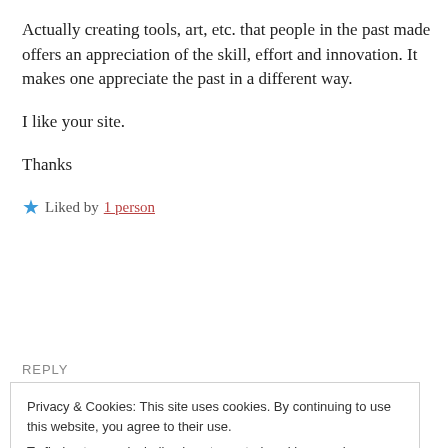Actually creating tools, art, etc. that people in the past made offers an appreciation of the skill, effort and innovation. It makes one appreciate the past in a different way.
I like your site.
Thanks
★ Liked by 1 person
REPLY
Privacy & Cookies: This site uses cookies. By continuing to use this website, you agree to their use.
To find out more, including how to control cookies, see here: Cookie Policy